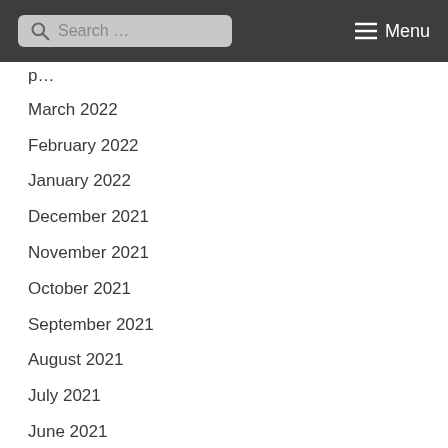Search ... Menu
March 2022
February 2022
January 2022
December 2021
November 2021
October 2021
September 2021
August 2021
July 2021
June 2021
May 2021
April 2021
March 2021
February 2021
January 2021
December 2020